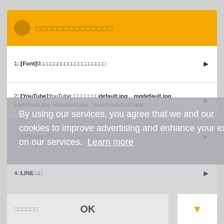□□□□□□□□□□□□□□
1□[Font]0□□□□□□□□□□□□□□□□□□□
2□[YouTube]YouTube□□□□□□□□default.jpg　mqdefault.jpg　hqdefault.jpg sddefault.jpg　maxresdefault.jpg□
3□[PDFlib]PDF□□□□□□□□□□□□□
4□LINE □□
5□[Ai]□□□□□□□□
By using our services, you agree that we and our use cookies to improve advertising and enhance your experience on our services. Learn more
□□□□□□
OK